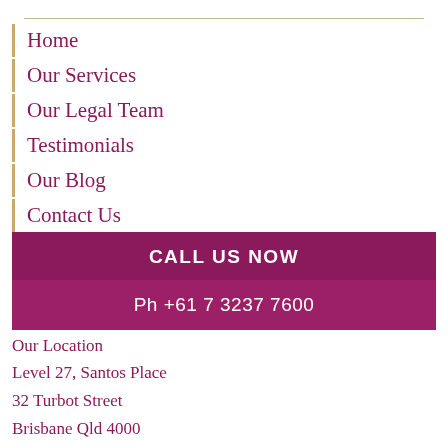Home
Our Services
Our Legal Team
Testimonials
Our Blog
Contact Us
CALL US NOW
Ph +61 7 3237 7600
Our Location
Level 27, Santos Place
32 Turbot Street
Brisbane Qld 4000
View Map